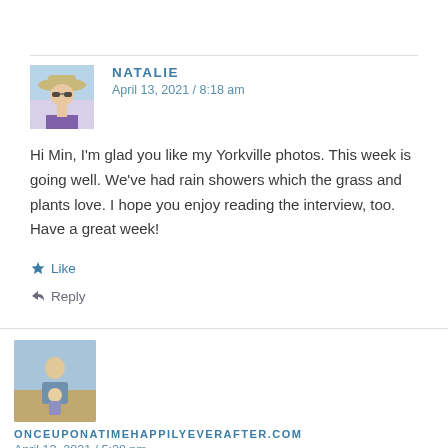[Figure (photo): Avatar photo of Natalie, a woman wearing a hat and sunglasses, in a purple shirt]
NATALIE
April 13, 2021 / 8:18 am
Hi Min, I'm glad you like my Yorkville photos. This week is going well. We've had rain showers which the grass and plants love. I hope you enjoy reading the interview, too. Have a great week!
★ Like
↩ Reply
[Figure (photo): Avatar photo for onceuponatimehappilyeverafter.com, showing a person outdoors]
ONCEUPONATIMEHAPPILYEVERAFTER.COM
April 13, 2021 / 5:28 pm